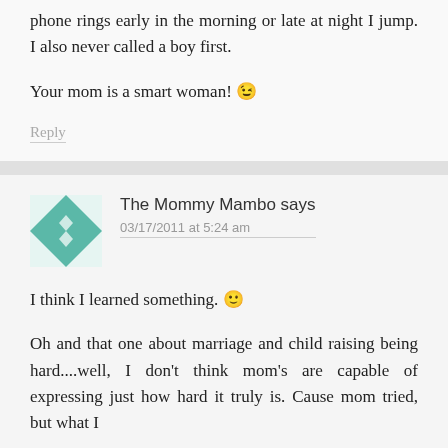phone rings early in the morning or late at night I jump. I also never called a boy first.
Your mom is a smart woman! 😉
Reply
The Mommy Mambo says
03/17/2011 at 5:24 am
I think I learned something. 🙂
Oh and that one about marriage and child raising being hard....well, I don't think mom's are capable of expressing just how hard it truly is. Cause mom tried, but what I